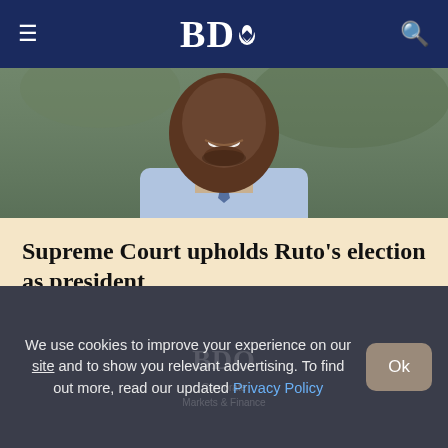BDO
[Figure (photo): Close-up photo of a man in a light blue suit, smiling, cropped at the chin and shoulders]
Supreme Court upholds Ruto's election as president
BY SAM KIPLAGAT
We use cookies to improve your experience on our site and to show you relevant advertising. To find out more, read our updated Privacy Policy